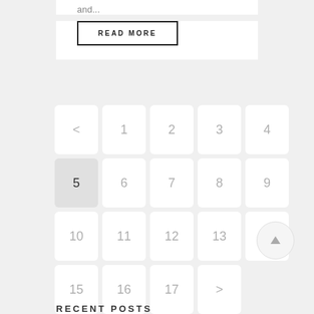and...
READ MORE
[Figure (other): Pagination grid with numbered buttons 1-17, a back arrow (<), a forward arrow (>), and current page 5 highlighted. Buttons arranged in 4 rows of 5.]
[Figure (other): Circular scroll-to-top button with an upward arrow icon.]
RECENT POSTS